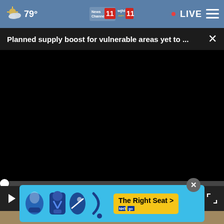79° | News Channel 11 WJHL.com 11 | LIVE
Planned supply boost for vulnerable areas yet to ...
[Figure (screenshot): Black video player area showing a paused/loading video with progress bar at zero (00:00), play button, mute button, captions button, and fullscreen button.]
[Figure (photo): Bottom strip showing a smiling woman outdoors with a blue background, partially obscured by an advertisement banner.]
[Figure (infographic): NHTSA advertisement banner with blue background showing car seat safety icons and a yellow 'The Right Seat >' call-to-action button with NHTSA branding.]